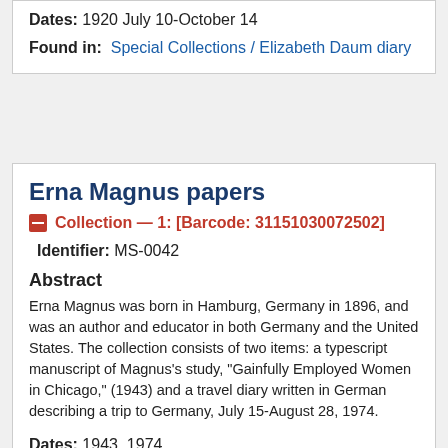Dates: 1920 July 10-October 14
Found in: Special Collections / Elizabeth Daum diary
Erna Magnus papers
Collection — 1: [Barcode: 31151030072502]
Identifier: MS-0042
Abstract
Erna Magnus was born in Hamburg, Germany in 1896, and was an author and educator in both Germany and the United States. The collection consists of two items: a typescript manuscript of Magnus's study, "Gainfully Employed Women in Chicago," (1943) and a travel diary written in German describing a trip to Germany, July 15-August 28, 1974.
Dates: 1943, 1974
Found in: Special Collections / Erna Magnus papers